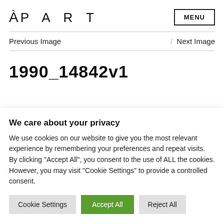À P A R T  MENU
Previous Image / Next Image
1990_14842v1
We care about your privacy
We use cookies on our website to give you the most relevant experience by remembering your preferences and repeat visits. By clicking "Accept All", you consent to the use of ALL the cookies. However, you may visit "Cookie Settings" to provide a controlled consent.
Cookie Settings  Accept All  Reject All